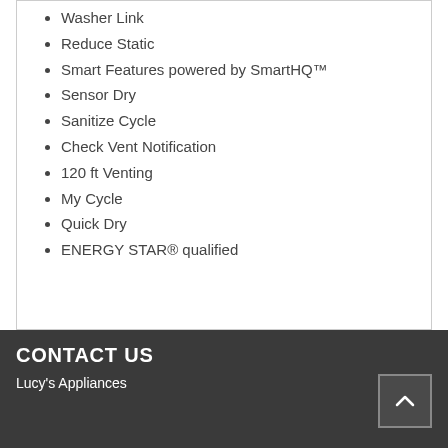Washer Link
Reduce Static
Smart Features powered by SmartHQ™
Sensor Dry
Sanitize Cycle
Check Vent Notification
120 ft Venting
My Cycle
Quick Dry
ENERGY STAR® qualified
CONTACT US
Lucy's Appliances